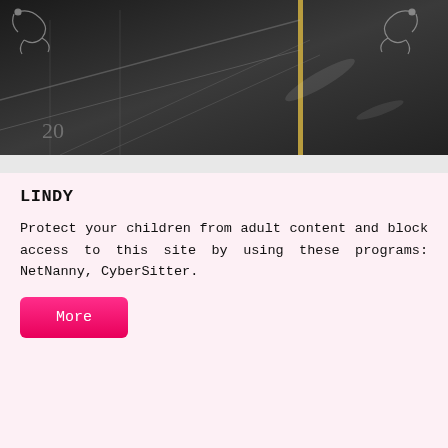[Figure (photo): Dark scene with ornate scrollwork decorations in corners, a vertical golden bar, and structural rails/grid in background. Number '20' partially visible lower left.]
LINDY
Protect your children from adult content and block access to this site by using these programs: NetNanny, CyberSitter.
More